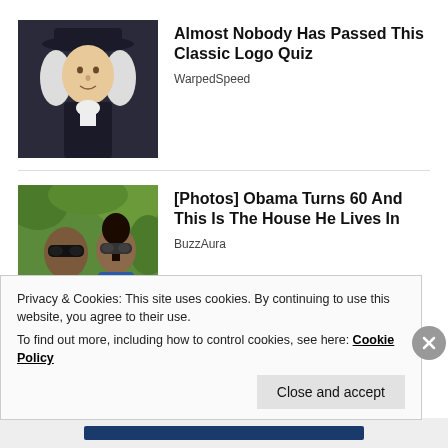[Figure (photo): Thumbnail image of a colonial-era figure with white wig and dark hat, used as article thumbnail for logo quiz article]
Almost Nobody Has Passed This Classic Logo Quiz
WarpedSpeed
[Figure (photo): Thumbnail photo of two people wearing sunglasses outdoors with greenery in background]
[Photos] Obama Turns 60 And This Is The House He Lives In
BuzzAura
Privacy & Cookies: This site uses cookies. By continuing to use this website, you agree to their use.
To find out more, including how to control cookies, see here: Cookie Policy
Close and accept